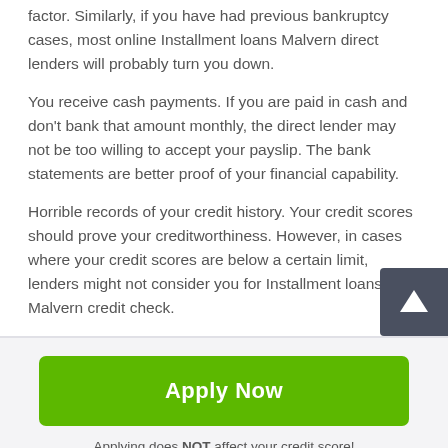factor. Similarly, if you have had previous bankruptcy cases, most online Installment loans Malvern direct lenders will probably turn you down.
You receive cash payments. If you are paid in cash and don't bank that amount monthly, the direct lender may not be too willing to accept your payslip. The bank statements are better proof of your financial capability.
Horrible records of your credit history. Your credit scores should prove your creditworthiness. However, in cases where your credit scores are below a certain limit, lenders might not consider you for Installment loans Malvern credit check.
[Figure (other): Green 'Apply Now' button with rounded corners]
Applying does NOT affect your credit score!
No credit check to apply.